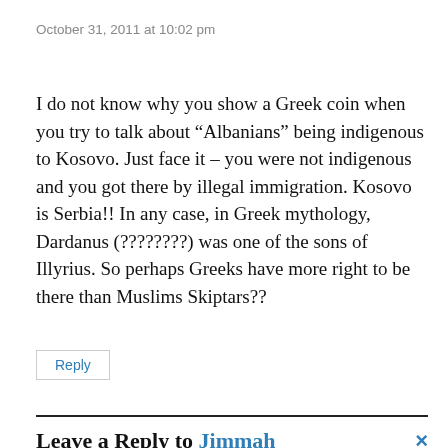October 31, 2011 at 10:02 pm
I do not know why you show a Greek coin when you try to talk about “Albanians” being indigenous to Kosovo. Just face it – you were not indigenous and you got there by illegal immigration. Kosovo is Serbia!! In any case, in Greek mythology, Dardanus (????????) was one of the sons of Illyrius. So perhaps Greeks have more right to be there than Muslims Skiptars??
Reply
Leave a Reply to Jimmah ×